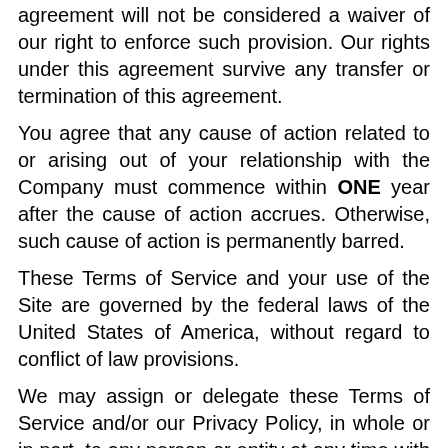agreement will not be considered a waiver of our right to enforce such provision. Our rights under this agreement survive any transfer or termination of this agreement.
You agree that any cause of action related to or arising out of your relationship with the Company must commence within ONE year after the cause of action accrues. Otherwise, such cause of action is permanently barred.
These Terms of Service and your use of the Site are governed by the federal laws of the United States of America, without regard to conflict of law provisions.
We may assign or delegate these Terms of Service and/or our Privacy Policy, in whole or in part, to any person or entity at any time with or without your consent. You may not assign or delegate any rights or obligations under the Terms of Service or Privacy Policy without our prior written consent, and any unauthorized assignment or delegation by you is void.
YOU ACKNOWLEDGE THAT YOU HAVE READ THESE TERMS OF SERVICE, UNDERSTAND THE TERMS OF